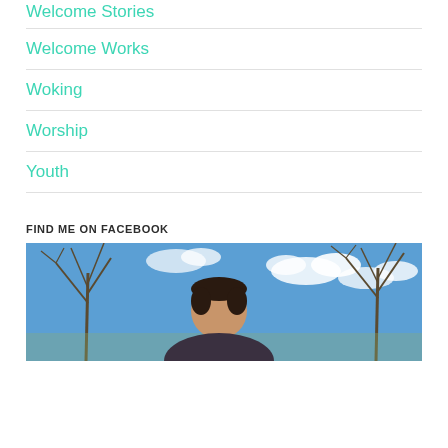Welcome Stories
Welcome Works
Woking
Worship
Youth
FIND ME ON FACEBOOK
[Figure (photo): Outdoor photo of a person from the shoulders up, with bare winter trees and a blue sky with white clouds in the background.]